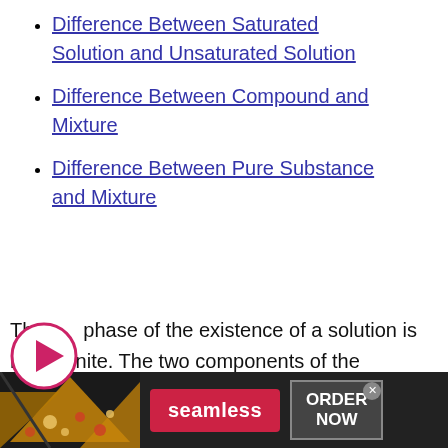Difference Between Saturated Solution and Unsaturated Solution
Difference Between Compound and Mixture
Difference Between Pure Substance and Mixture
The phase of the existence of a solution is not definite. The two components of the solution may be classified as solute and
[Figure (other): Circular play button icon overlapping the body text]
[Figure (other): Advertisement banner for Seamless food delivery with pizza image and ORDER NOW button]